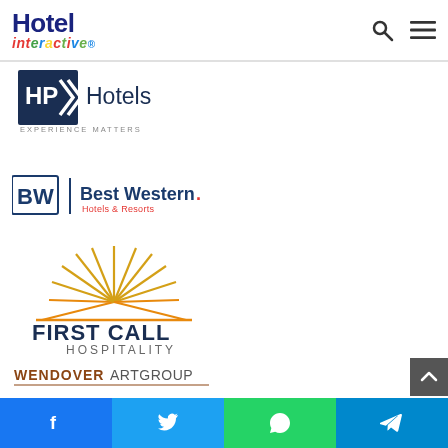Hotel interactive - navigation header with search and menu icons
[Figure (logo): HP Hotels logo - dark blue square with HP double-arrow chevron, text 'Hotels' and 'EXPERIENCE MATTERS']
[Figure (logo): Best Western Hotels & Resorts logo - BW shield with 'Best Western.' text and 'Hotels & Resorts' underneath]
[Figure (logo): First Call Hospitality logo - sunburst rays above bold text 'FIRST CALL HOSPITALITY']
[Figure (logo): Wendover Art Group logo - stylized text 'WENDOVERARTGROUP' in brown/red with underline]
[Figure (logo): Marshall Hotels & Resorts logo - gold lines above 'MARSHALL' in serif text, partially visible]
Social share bar: Facebook, Twitter, WhatsApp, Telegram